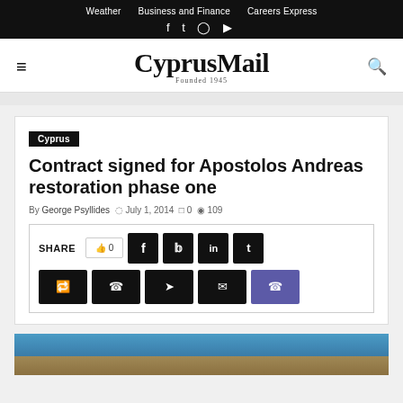Weather   Business and Finance   Careers Express
CyprusMail
Founded 1945
Cyprus
Contract signed for Apostolos Andreas restoration phase one
By George Psyllides  July 1, 2014  0  109
SHARE  0
[Figure (photo): Partial photo of a stone building with blue sky at the bottom of the page]